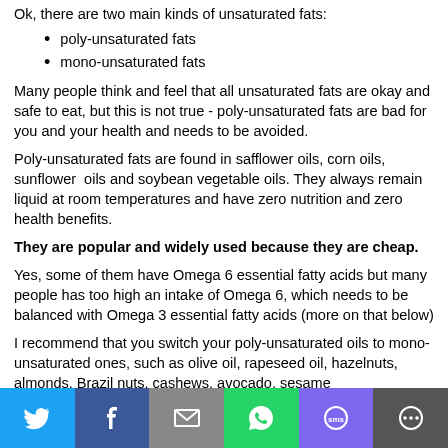Ok, there are two main kinds of unsaturated fats:
poly-unsaturated fats
mono-unsaturated fats
Many people think and feel that all unsaturated fats are okay and safe to eat, but this is not true - poly-unsaturated fats are bad for you and your health and needs to be avoided.
Poly-unsaturated fats are found in safflower oils, corn oils, sunflower  oils and soybean vegetable oils. They always remain liquid at room temperatures and have zero nutrition and zero health benefits.
They are popular and widely used because they are cheap.
Yes, some of them have Omega 6 essential fatty acids but many people has too high an intake of Omega 6, which needs to be balanced with Omega 3 essential fatty acids (more on that below)
I recommend that you switch your poly-unsaturated oils to mono-unsaturated ones, such as olive oil, rapeseed oil, hazelnuts, almonds, Brazil nuts, cashews, avocado, sesame